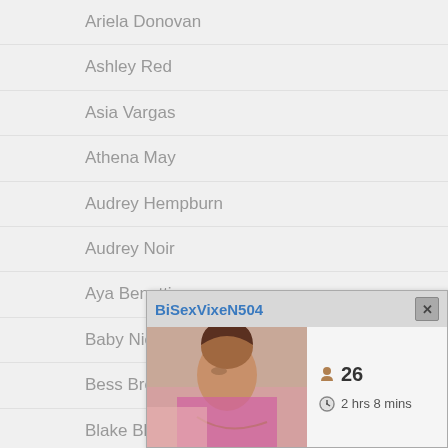Ariela Donovan
Ashley Red
Asia Vargas
Athena May
Audrey Hempburn
Audrey Noir
Aya Benetti
Baby Nicols
Bess Breast
Blake Blossom
Brooklyn Gray
Candy White
Caomei Bala
[Figure (screenshot): Popup overlay showing BiSexVixeN504 profile card with age 26 and 2 hrs 8 mins online time]